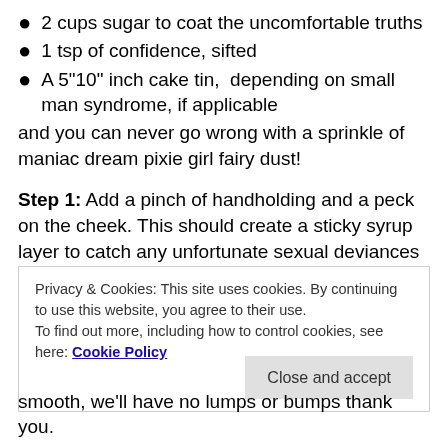2 cups sugar to coat the uncomfortable truths
1 tsp of confidence, sifted
A 5"10" inch cake tin,  depending on small man syndrome, if applicable
and you can never go wrong with a sprinkle of maniac dream pixie girl fairy dust!
Step 1: Add a pinch of handholding and a peck on the cheek. This should create a sticky syrup layer to catch any unfortunate sexual deviances which could spoil the consistency of the cake.
Step 2: Dissolve in a cup of unrealistic expectations
Privacy & Cookies: This site uses cookies. By continuing to use this website, you agree to their use.
To find out more, including how to control cookies, see here: Cookie Policy
smooth, we'll have no lumps or bumps thank you.